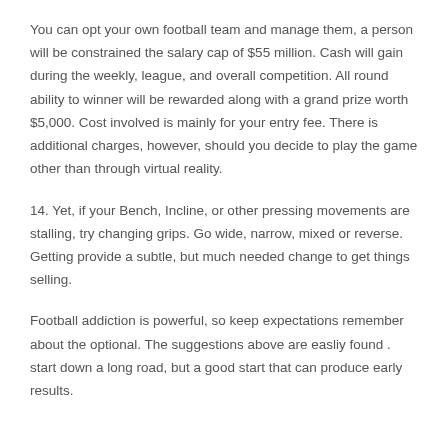You can opt your own football team and manage them, a person will be constrained the salary cap of $55 million. Cash will gain during the weekly, league, and overall competition. All round ability to winner will be rewarded along with a grand prize worth $5,000. Cost involved is mainly for your entry fee. There is additional charges, however, should you decide to play the game other than through virtual reality.
14. Yet, if your Bench, Incline, or other pressing movements are stalling, try changing grips. Go wide, narrow, mixed or reverse. Getting provide a subtle, but much needed change to get things selling.
Football addiction is powerful, so keep expectations remember about the optional. The suggestions above are easliy found . start down a long road, but a good start that can produce early results.